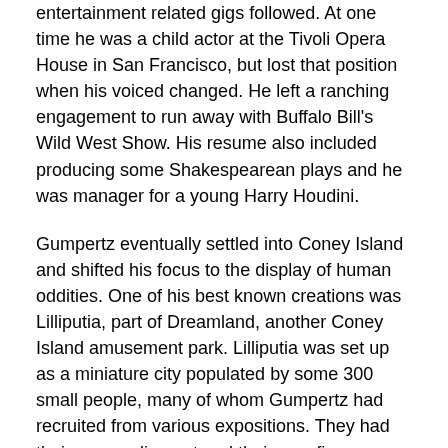entertainment related gigs followed. At one time he was a child actor at the Tivoli Opera House in San Francisco, but lost that position when his voiced changed. He left a ranching engagement to run away with Buffalo Bill's Wild West Show. His resume also included producing some Shakespearean plays and he was manager for a young Harry Houdini.
Gumpertz eventually settled into Coney Island and shifted his focus to the display of human oddities. One of his best known creations was Lilliputia, part of Dreamland, another Coney Island amusement park. Lilliputia was set up as a miniature city populated by some 300 small people, many of whom Gumpertz had recruited from various expositions. They had their own parliament and their own fire department, the latter of which staged a false alarm every hour for park guests.